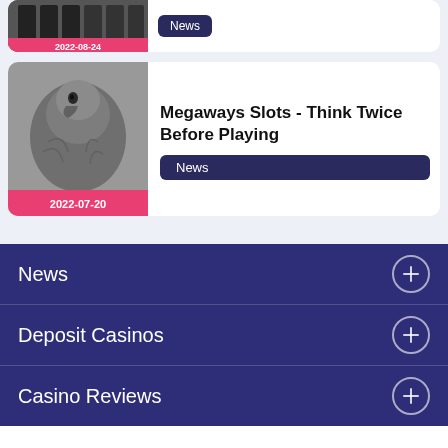[Figure (photo): Partial top card with dark slot machine image and pink date badge showing 2022-08-24, with News badge]
[Figure (photo): Black and white close-up photo of a bird (vulture-like) with pink date badge showing 2022-07-20]
Megaways Slots - Think Twice Before Playing
News
News
Deposit Casinos
Casino Reviews